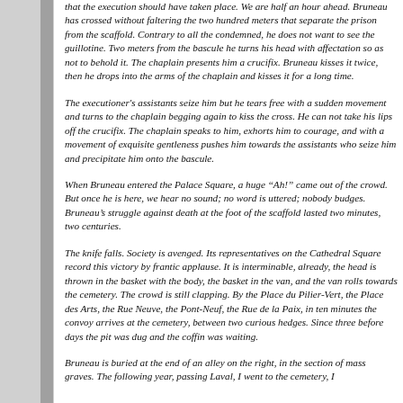that the execution should have taken place. We are half an hour ahead. Bruneau has crossed without faltering the two hundred meters that separate the prison from the scaffold. Contrary to all the condemned, he does not want to see the guillotine. Two meters from the bascule he turns his head with affectation so as not to behold it. The chaplain presents him a crucifix. Bruneau kisses it twice, then he drops into the arms of the chaplain and kisses it for a long time.
The executioner's assistants seize him but he tears free with a sudden movement and turns to the chaplain begging again to kiss the cross. He can not take his lips off the crucifix. The chaplain speaks to him, exhorts him to courage, and with a movement of exquisite gentleness pushes him towards the assistants who seize him and precipitate him onto the bascule.
When Bruneau entered the Palace Square, a huge “Ah!” came out of the crowd. But once he is here, we hear no sound; no word is uttered; nobody budges. Bruneau’s struggle against death at the foot of the scaffold lasted two minutes, two centuries.
The knife falls. Society is avenged. Its representatives on the Cathedral Square record this victory by frantic applause. It is interminable, already, the head is thrown in the basket with the body, the basket in the van, and the van rolls towards the cemetery. The crowd is still clapping. By the Place du Pilier-Vert, the Place des Arts, the Rue Neuve, the Pont-Neuf, the Rue de la Paix, in ten minutes the convoy arrives at the cemetery, between two curious hedges. Since three before days the pit was dug and the coffin was waiting.
Bruneau is buried at the end of an alley on the right, in the section of mass graves. The following year, passing Laval, I went to the cemetery, I